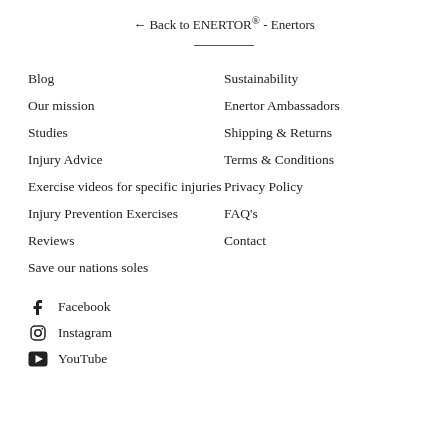← Back to ENERTOR® - Enertors
Blog
Our mission
Studies
Injury Advice
Exercise videos for specific injuries
Injury Prevention Exercises
Reviews
Save our nations soles
Sustainability
Enertor Ambassadors
Shipping & Returns
Terms & Conditions
Privacy Policy
FAQ's
Contact
Facebook
Instagram
YouTube